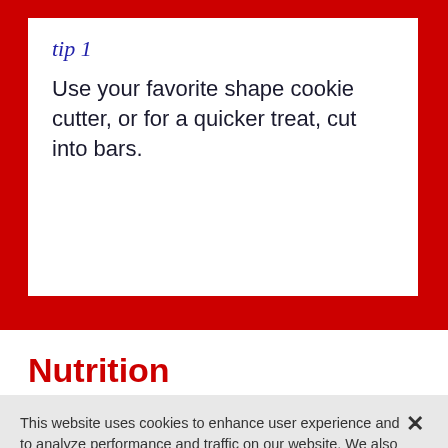tip 1
Use your favorite shape cookie cutter, or for a quicker treat, cut into bars.
Nutrition
230 Calories. 10g Total Fat. 2g Protein. 33g Total
This website uses cookies to enhance user experience and to analyze performance and traffic on our website. We also share information about your use of our site with our social media, advertising and analytics partners.  Link to Cookie Policy
Customize Settings  Accept All Cookies